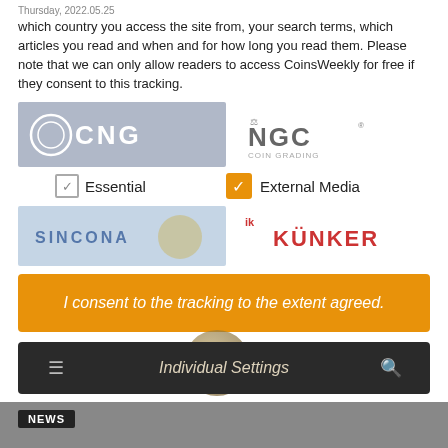Thursday, 2022.05.25
which country you access the site from, your search terms, which articles you read and when and for how long you read them. Please note that we can only allow readers to access CoinsWeekly for free if they consent to this tracking.
[Figure (logo): CNG (Classical Numismatic Group) logo - gray background with white text]
[Figure (logo): NGC (Numismatic Guaranty Company) logo - scales icon with text]
✓  Essential
✓  External Media
[Figure (logo): SINCONA logo - blue/gray background]
[Figure (logo): KÜNKER logo - red text]
I consent to the tracking to the extent agreed.
Individual Settings
NEWS
Anti-counterfeiting approach by biomimicry